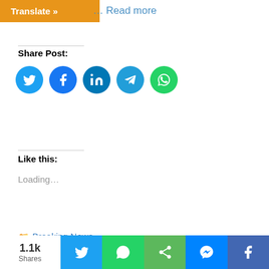Translate » ... Read more
Share Post:
[Figure (other): Social share icons: Twitter, Facebook, LinkedIn, Telegram, WhatsApp]
Like this:
Loading...
Breaking News
Country, destruction, flood, flooded, heavy rains, himachal pradesh rain, Odisha Rain, parts, Rain, Roads, waterwater
Leave a comment
1.1k Shares